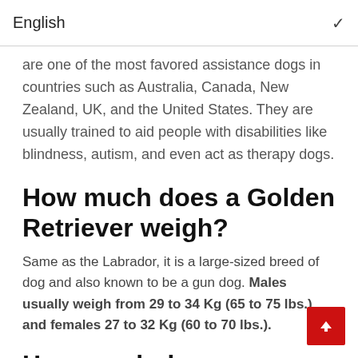English
are one of the most favored assistance dogs in countries such as Australia, Canada, New Zealand, UK, and the United States. They are usually trained to aid people with disabilities like blindness, autism, and even act as therapy dogs.
How much does a Golden Retriever weigh?
Same as the Labrador, it is a large-sized breed of dog and also known to be a gun dog. Males usually weigh from 29 to 34 Kg (65 to 75 lbs.) and females 27 to 32 Kg (60 to 70 lbs.).
How much does a